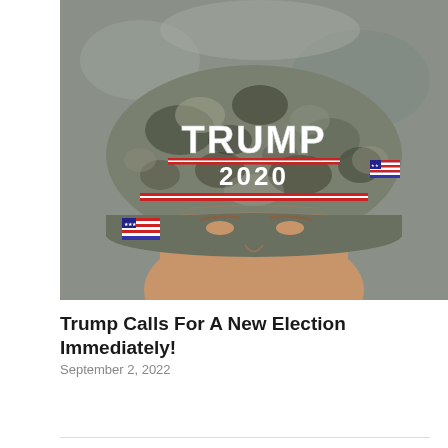[Figure (photo): Close-up photograph of a person wearing a camouflage 'Trump 2020' baseball cap with American flag patches on the brim and side.]
Trump Calls For A New Election Immediately!
September 2, 2022